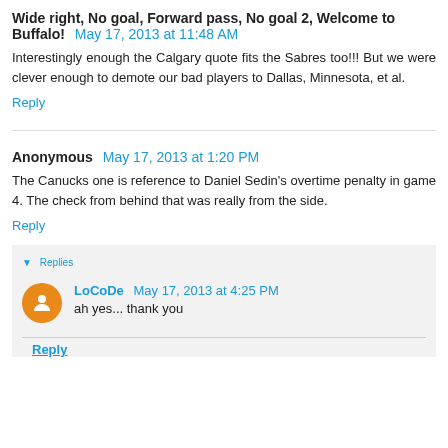Wide right, No goal, Forward pass, No goal 2, Welcome to Buffalo!  May 17, 2013 at 11:48 AM
Interestingly enough the Calgary quote fits the Sabres too!!! But we were clever enough to demote our bad players to Dallas, Minnesota, et al.
Reply
Anonymous  May 17, 2013 at 1:20 PM
The Canucks one is reference to Daniel Sedin's overtime penalty in game 4. The check from behind that was really from the side.
Reply
Replies
LoCoDe  May 17, 2013 at 4:25 PM
ah yes... thank you
Reply